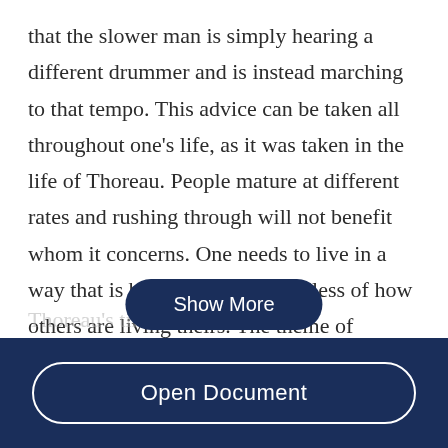that the slower man is simply hearing a different drummer and is instead marching to that tempo. This advice can be taken all throughout one's life, as it was taken in the life of Thoreau. People mature at different rates and rushing through will not benefit whom it concerns. One needs to live in a way that is best for them, regardless of how others are living theirs. The theme of breaking away from societal norms was not only in Thoreau's times...